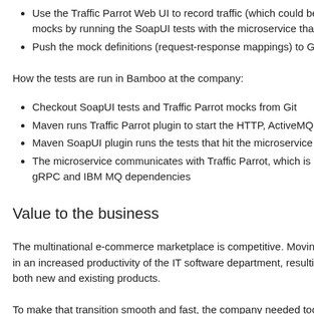Use the Traffic Parrot Web UI to record traffic (which could be mocks by running the SoapUI tests with the microservice that
Push the mock definitions (request-response mappings) to G
How the tests are run in Bamboo at the company:
Checkout SoapUI tests and Traffic Parrot mocks from Git
Maven runs Traffic Parrot plugin to start the HTTP, ActiveMQ
Maven SoapUI plugin runs the tests that hit the microservice
The microservice communicates with Traffic Parrot, which is p gRPC and IBM MQ dependencies
Value to the business
The multinational e-commerce marketplace is competitive. Moving t in an increased productivity of the IT software department, resulting both new and existing products.
To make that transition smooth and fast, the company needed tools microservice architectures by a team doing Continuous Integration.